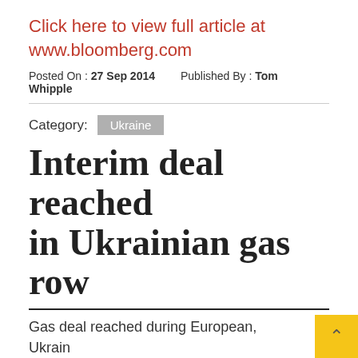Click here to view full article at www.bloomberg.com
Posted On : 27 Sep 2014    Published By : Tom Whipple
Category:  Ukraine
Interim deal reached in Ukrainian gas row
Gas deal reached during European, Ukrainian and Russian talks. (UPI Photo/Sergey